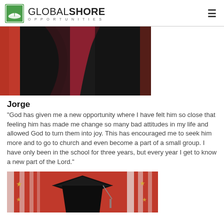GLOBAL SHORE OPPORTUNITIES
[Figure (photo): Close-up photo of graduation gown in black and dark red/maroon colors against a red background]
Jorge
“God has given me a new opportunity where I have felt him so close that feeling him has made me change so many bad attitudes in my life and allowed God to turn them into joy. This has encouraged me to seek him more and to go to church and even become a part of a small group. I have only been in the school for three years, but every year I get to know a new part of the Lord.”
[Figure (photo): Photo of graduation cap (mortarboard) against a red and striped background with star decorations]